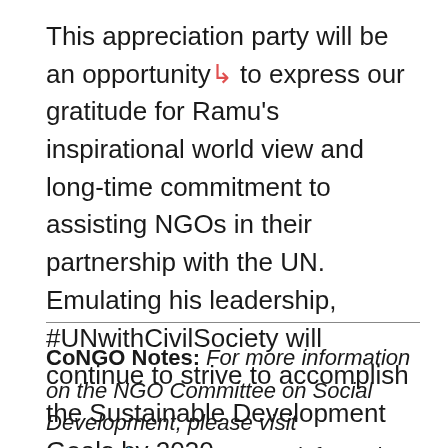This appreciation party will be an opportunity to express our gratitude for Ramu's inspirational world view and long-time commitment to assisting NGOs in their partnership with the UN. Emulating his leadership, #UNwithCivilSociety will continue to strive to accomplish the Sustainable Development Goals by 2030.
CoNGO Notes: For more information on the NGO Committee on Social Development, please visit ngosocdev.org. For more information on the NGO Committee on Disarmament, Peace, and